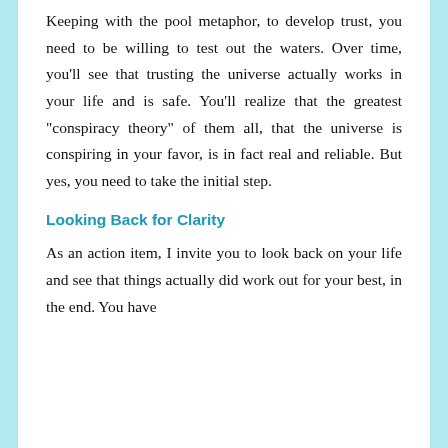Keeping with the pool metaphor, to develop trust, you need to be willing to test out the waters. Over time, you'll see that trusting the universe actually works in your life and is safe. You'll realize that the greatest “conspiracy theory” of them all, that the universe is conspiring in your favor, is in fact real and reliable. But yes, you need to take the initial step.
Looking Back for Clarity
As an action item, I invite you to look back on your life and see that things actually did work out for your best, in the end. You have